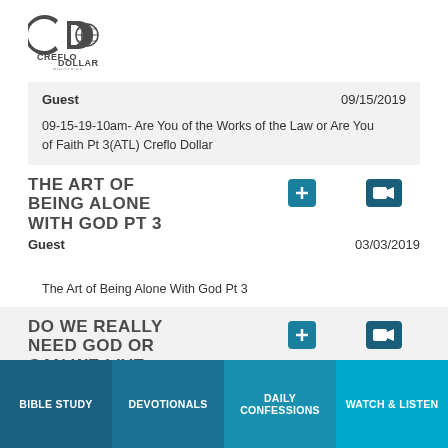[Figure (logo): Creflo Dollar Ministries logo with stylized CD letters and globe]
Guest    09/15/2019
09-15-19-10am- Are You of the Works of the Law or Are You of Faith Pt 3(ATL) Creflo Dollar
THE ART OF BEING ALONE WITH GOD PT 3
Guest    03/03/2019
The Art of Being Alone With God Pt 3
DO WE REALLY NEED GOD OR CAN WE LIVE WITHOUT HIM?
BIBLE STUDY   DEVOTIONALS   DAILY CONFESSIONS   WATCH & LISTEN